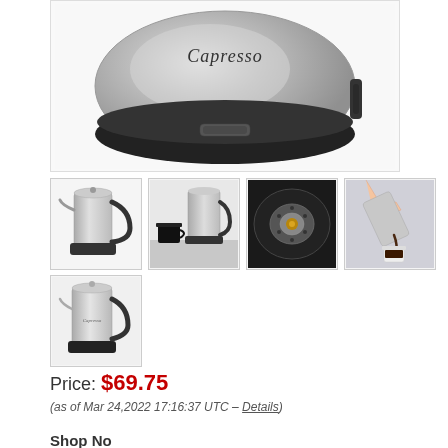[Figure (photo): Main product image of Capresso stainless steel coffee percolator, top-down view showing the brand name logo and black base with control button]
[Figure (photo): Thumbnail 1: Full view of Capresso stainless steel coffee percolator with black handle]
[Figure (photo): Thumbnail 2: Capresso percolator next to a cup of coffee on a surface]
[Figure (photo): Thumbnail 3: Top view of the Capresso percolator showing the percolation mechanism]
[Figure (photo): Thumbnail 4: Person pouring coffee from the Capresso percolator into a small cup]
[Figure (photo): Thumbnail 5: Side view of Capresso stainless steel coffee percolator with black handle]
Price: $69.75
(as of Mar 24,2022 17:16:37 UTC – Details)
Shop No...